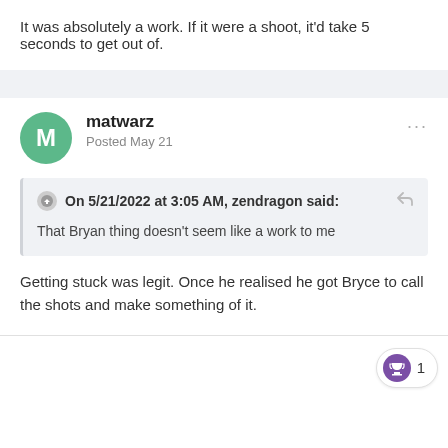It was absolutely a work. If it were a shoot, it'd take 5 seconds to get out of.
matwarz
Posted May 21
On 5/21/2022 at 3:05 AM, zendragon said:
That Bryan thing doesn't seem like a work to me
Getting stuck was legit. Once he realised he got Bryce to call the shots and make something of it.